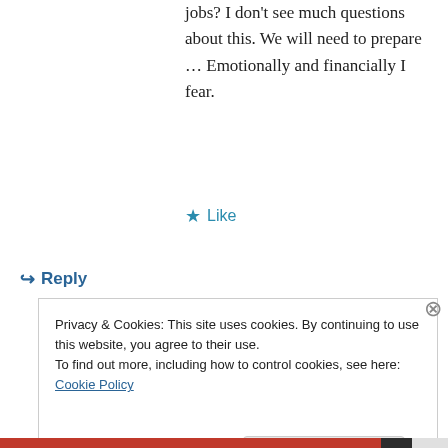jobs? I don't see much questions about this. We will need to prepare … Emotionally and financially I fear.
★ Like
↪ Reply
Privacy & Cookies: This site uses cookies. By continuing to use this website, you agree to their use. To find out more, including how to control cookies, see here: Cookie Policy
Close and accept